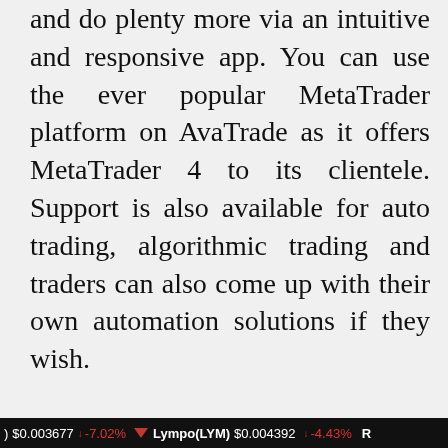and do plenty more via an intuitive and responsive app. You can use the ever popular MetaTrader platform on AvaTrade as it offers MetaTrader 4 to its clientele. Support is also available for auto trading, algorithmic trading and traders can also come up with their own automation solutions if they wish.

MetaTrader 4 can be used by traders on their mobile, desktop or also through the web browser. As it is quite light, you don't have to worry about any la[g]
) $0.003677 ↓ -7.02%  Lympo(LYM) $0.004392 ↓ -4.43%  R